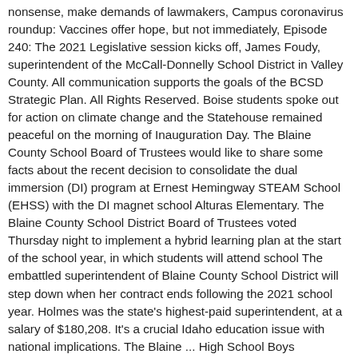nonsense, make demands of lawmakers, Campus coronavirus roundup: Vaccines offer hope, but not immediately, Episode 240: The 2021 Legislative session kicks off, James Foudy, superintendent of the McCall-Donnelly School District in Valley County. All communication supports the goals of the BCSD Strategic Plan. All Rights Reserved. Boise students spoke out for action on climate change and the Statehouse remained peaceful on the morning of Inauguration Day. The Blaine County School Board of Trustees would like to share some facts about the recent decision to consolidate the dual immersion (DI) program at Ernest Hemingway STEAM School (EHSS) with the DI magnet school Alturas Elementary. The Blaine County School District Board of Trustees voted Thursday night to implement a hybrid learning plan at the start of the school year, in which students will attend school The embattled superintendent of Blaine County School District will step down when her contract ends following the 2021 school year. Holmes was the state's highest-paid superintendent, at a salary of $180,208. It's a crucial Idaho education issue with national implications. The Blaine ... High School Boys basketball was in full swing this week as all four Blaine County teams were in action. Blaine County public schools will remain closed through the end of the school year, the school district announced Tuesday morning. Read Little's $915.8 million higher education spending li...